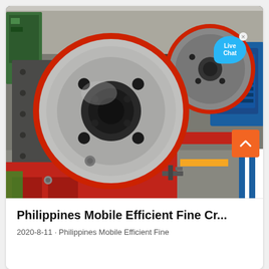[Figure (photo): Photo of a jaw crusher machine in a factory/workshop setting. Large red-rimmed flywheel prominently visible in the foreground, with a second flywheel behind it connected by a belt. The machine body is dark grey/black with bolt holes. Red structural frame and yellow/orange accents visible in the background. A blue electric motor is visible at the right side. Live Chat bubble overlay in cyan/blue at upper right.]
Philippines Mobile Efficient Fine Cr...
2020-8-11 · Philippines Mobile Efficient Fine